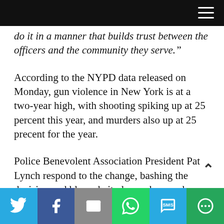do it in a manner that builds trust between the officers and the community they serve.”
According to the NYPD data released on Monday, gun violence in New York is at a two-year high, with shooting spiking up at 25 percent this year, and murders also up at 25 precent for the year.
Police Benevolent Association President Pat Lynch respond to the change, bashing the decision and blamed city lawmakers and officials. He stated the units works to proactively protect the city, particularly against gun violence.